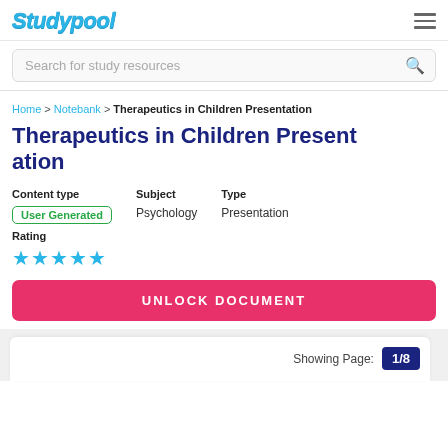Studypool
Search for study resources
Home > Notebank > Therapeutics in Children Presentation
Therapeutics in Children Presentation
Content type: User Generated  Subject: Psychology  Type: Presentation
Rating: ★★★★★
UNLOCK DOCUMENT
Showing Page: 1/8